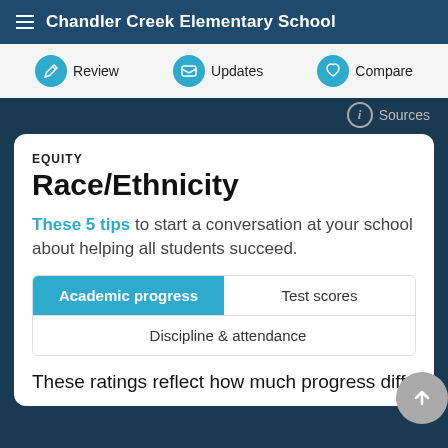Chandler Creek Elementary School
Review   Updates   Compare
Sources
EQUITY
Race/Ethnicity
These 5 tips to start a conversation at your school about helping all students succeed.
Academic progress   Test scores   Discipline & attendance
These ratings reflect how much progress different student groups make from year f...